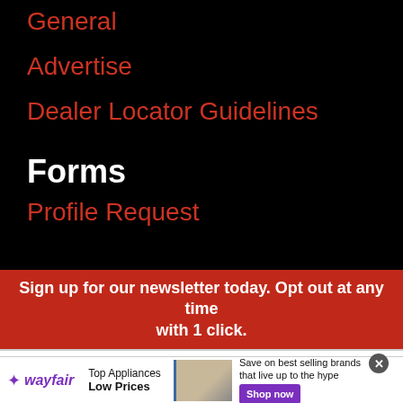General
Advertise
Dealer Locator Guidelines
Forms
Profile Request
Sign up for our newsletter today. Opt out at any time with 1 click.
First Name
[Figure (other): Wayfair advertisement banner: Top Appliances Low Prices, with appliance image and Shop now button]